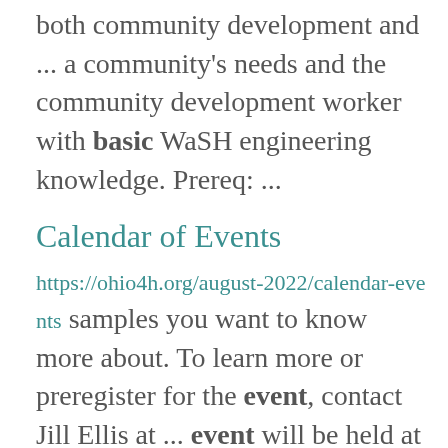both community development and ... a community's needs and the community development worker with basic WaSH engineering knowledge. Prereq: ...
Calendar of Events
https://ohio4h.org/august-2022/calendar-events samples you want to know more about. To learn more or preregister for the event, contact Jill Ellis at ... event will be held at the new ACRE (Ag Conservation, Research, and Education) Farm and will address ... Ostrander. This is an adult-only event (age 21 and older) that includes